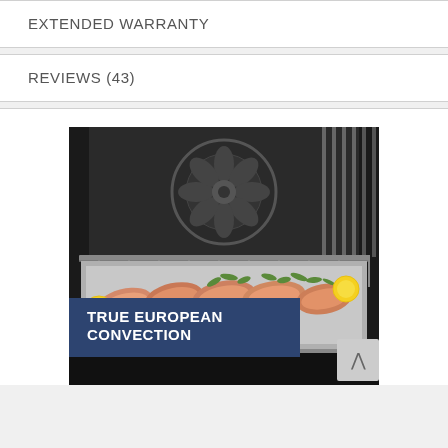EXTENDED WARRANTY
REVIEWS (43)
[Figure (photo): Oven interior with a baking sheet holding several salmon fillets garnished with lemon slices and dill herbs. The oven's convection fan is visible at the back. A dark blue overlay banner at the bottom reads TRUE EUROPEAN CONVECTION in bold white text.]